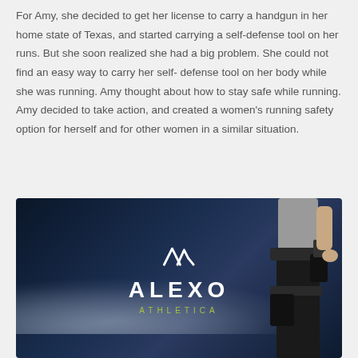For Amy, she decided to get her license to carry a handgun in her home state of Texas, and started carrying a self-defense tool on her runs. But she soon realized she had a big problem. She could not find an easy way to carry her self- defense tool on her body while she was running. Amy thought about how to stay safe while running. Amy decided to take action, and created a women's running safety option for herself and for other women in a similar situation.
[Figure (photo): Advertisement image for Alexo Athletica showing a woman wearing black athletic pants and a gray top with a running belt/holster system around her waist and thigh. The background is a dark navy/stormy sky with cloud-like mist. The Alexo logo (stylized double chevron/arrow icon) appears in white, with 'ALEXO' in large white letters and 'ATHLETICA' in smaller green/yellow-green letters below.]